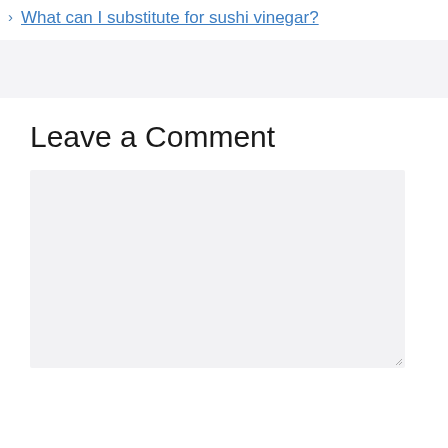What can I substitute for sushi vinegar?
Leave a Comment